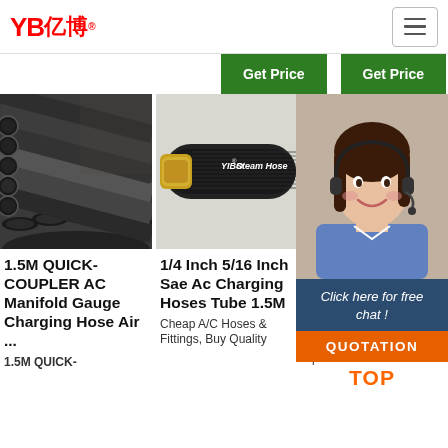YB亿博 logo and navigation menu
[Figure (screenshot): Get Price buttons bar with 24/7 Online badge]
[Figure (photo): Black rubber hoses/tubes bundled together]
[Figure (photo): YIBO Steam Hose product photo on dark background]
[Figure (photo): Customer service representative with headset smiling, with chat widget overlay]
1.5M QUICK-COUPLER AC Manifold Gauge Charging Hose Air ...
1.5M QUICK-
1/4 Inch 5/16 Inch Sae Ac Charging Hoses Tube 1.5M
Cheap A/C Hoses & Fittings, Buy Quality
Ho 5/16 Inch SAE Ac Charging Hoses Tube
Dear customer, welcome to my shop, please feel